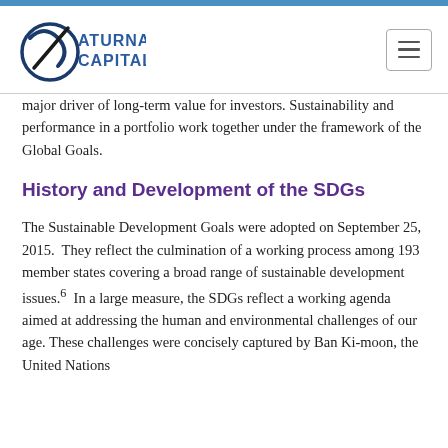[Figure (logo): Saturna Capital logo with circular S/C graphic in dark blue/black and text 'SATURNA CAPITAL' in blue]
major driver of long-term value for investors. Sustainability and performance in a portfolio work together under the framework of the Global Goals.
History and Development of the SDGs
The Sustainable Development Goals were adopted on September 25, 2015.  They reflect the culmination of a working process among 193 member states covering a broad range of sustainable development issues.6  In a large measure, the SDGs reflect a working agenda aimed at addressing the human and environmental challenges of our age. These challenges were concisely captured by Ban Ki-moon, the United Nations